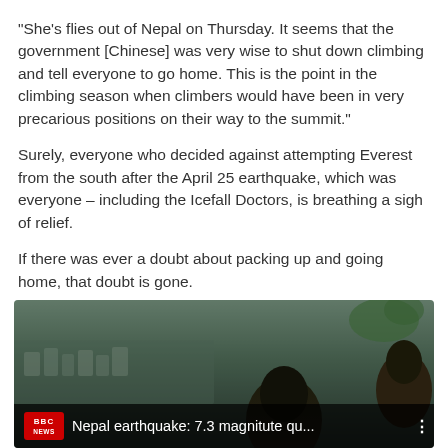“She’s flies out of Nepal on Thursday. It seems that the government [Chinese] was very wise to shut down climbing and tell everyone to go home. This is the point in the climbing season when climbers would have been in very precarious positions on their way to the summit.”
Surely, everyone who decided against attempting Everest from the south after the April 25 earthquake, which was everyone – including the Icefall Doctors, is breathing a sigh of relief.
If there was ever a doubt about packing up and going home, that doubt is gone.
[Figure (screenshot): BBC News video thumbnail showing Nepal earthquake: 7.3 magnitute qu... with a person's head silhouette in the foreground and a crowd scene in the background. BBC News red logo is visible in the lower bar.]